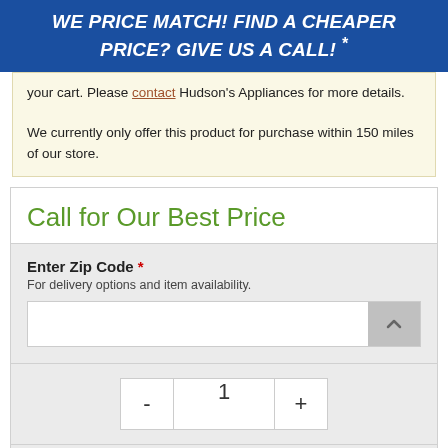WE PRICE MATCH! FIND A CHEAPER PRICE? GIVE US A CALL! *
your cart. Please contact Hudson's Appliances for more details.

We currently only offer this product for purchase within 150 miles of our store.
Call for Our Best Price
Enter Zip Code * For delivery options and item availability.
1
Request Quote